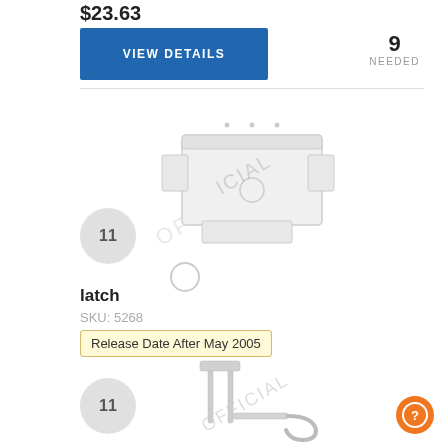$23.63
VIEW DETAILS
9
NEEDED
[Figure (photo): White latch/cover plate product with watermark overlay, plus small circle icon below]
latch
SKU: 5268
Release Date After May 2005
$38.76
VIEW DETAILS
1
NEEDED
[Figure (photo): Metal bracket/hinge product at bottom of page with item number 11]